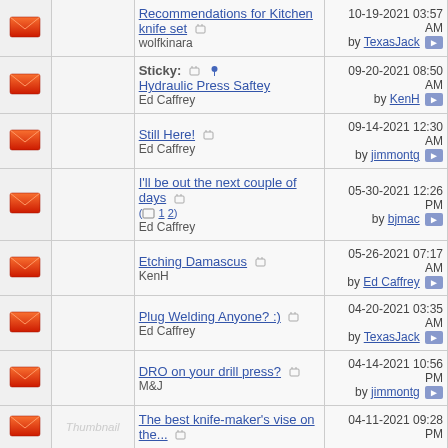|  |  | Topic | Last Post |
| --- | --- | --- | --- |
| [icon] |  | Recommendations for Kitchen knife set
wolfkinara | 10-19-2021 03:57 AM
by TexasJack |
| [icon] |  | Sticky: Hydraulic Press Saftey
Ed Caffrey | 09-20-2021 08:50 AM
by KenH |
| [icon] |  | Still Here!
Ed Caffrey | 09-14-2021 12:30 AM
by jimmontg |
| [icon] |  | I'll be out the next couple of days (1 2)
Ed Caffrey | 05-30-2021 12:26 PM
by bjmac |
| [icon] |  | Etching Damascus
KenH | 05-26-2021 07:17 AM
by Ed Caffrey |
| [icon] |  | Plug Welding Anyone? :)
Ed Caffrey | 04-20-2021 03:35 AM
by TexasJack |
| [icon] |  | DRO on your drill press?
M&J | 04-14-2021 10:56 PM
by jimmontg |
| [icon] | Thumbnail | The best knife-maker's vise on the... | 04-11-2021 09:28 PM |